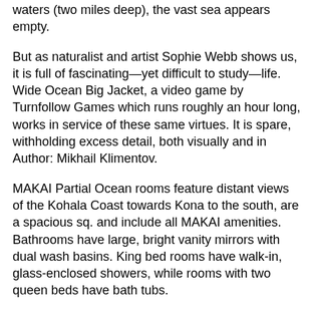Sophie Webb (figs 3 and 4) in extremely deep waters (two miles deep), the vast sea appears empty.
But as naturalist and artist Sophie Webb shows us, it is full of fascinating—yet difficult to study—life. Wide Ocean Big Jacket, a video game by Turnfollow Games which runs roughly an hour long, works in service of these same virtues. It is spare, withholding excess detail, both visually and in Author: Mikhail Klimentov.
MAKAI Partial Ocean rooms feature distant views of the Kohala Coast towards Kona to the south, are a spacious sq. and include all MAKAI amenities. Bathrooms have large, bright vanity mirrors with dual wash basins. King bed rooms have walk-in, glass-enclosed showers, while rooms with two queen beds have bath tubs.
All rooms have handheld. 9 Big Differences Between The Life Of Pi Movie And Book journey of a young man and a Bengal tiger as they traipse across the ocean in a lifeboat. Before Author: Jessica Rawden. Besides unparalleled ocean views, the 1, sq.